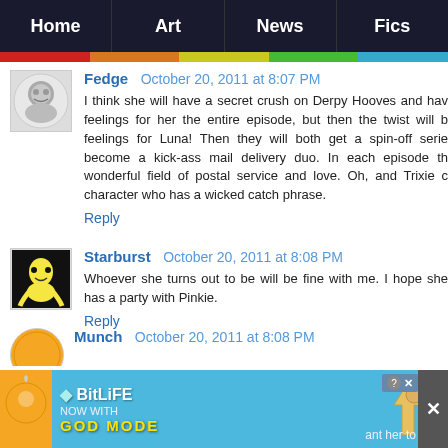Home | Art | News | Fics
Fedge  October 20, 2011 at 8:07 PM
I think she will have a secret crush on Derpy Hooves and have feelings for her the entire episode, but then the twist will be feelings for Luna! Then they will both get a spin-off series become a kick-ass mail delivery duo. In each episode the wonderful field of postal service and love. Oh, and Trixie co character who has a wicked catch phrase.
Reply
Starburst  October 20, 2011 at 8:08 PM
Whoever she turns out to be will be fine with me. I hope she has a party with Pinkie.
Reply
Munch  October 20, 2011 at 8:08 PM
ant her to
Reply
[Figure (screenshot): BitLife advertisement banner with 'NOW WITH GOD MODE' text]